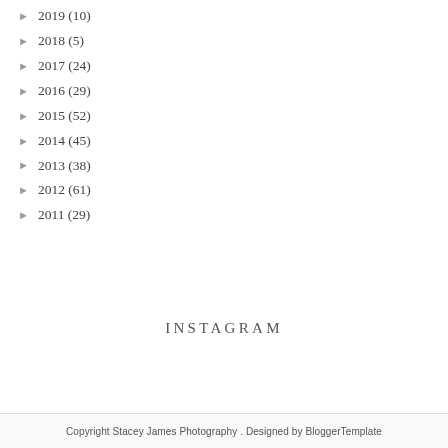► 2019 (10)
► 2018 (5)
► 2017 (24)
► 2016 (29)
► 2015 (52)
► 2014 (45)
► 2013 (38)
► 2012 (61)
► 2011 (29)
INSTAGRAM
Copyright Stacey James Photography . Designed by BloggerTemplate